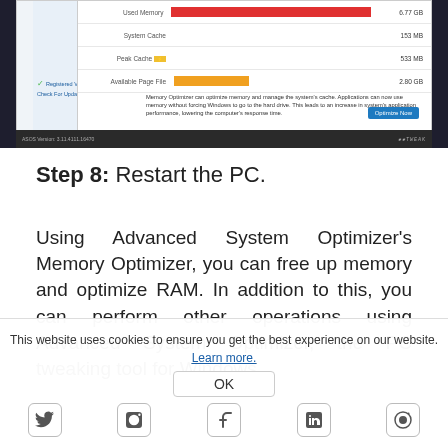[Figure (screenshot): Screenshot of Advanced System Optimizer Memory Optimizer window showing Used Memory (red bar, 6.77 GB), System Cache (153 MB), Peak Cache (533 MB), Available Page File (orange bar, 2.80 GB), with description text and Optimize Now button. Status bar shows ASOS Version: 3.11.4111.16470 and SySTweak logo.]
Step 8: Restart the PC.
Using Advanced System Optimizer's Memory Optimizer, you can free up memory and optimize RAM. In addition to this, you can perform other operations using Advanced System Optimizer, the PC tweaking tool for Windows.
This website uses cookies to ensure you get the best experience on our website. Learn more.